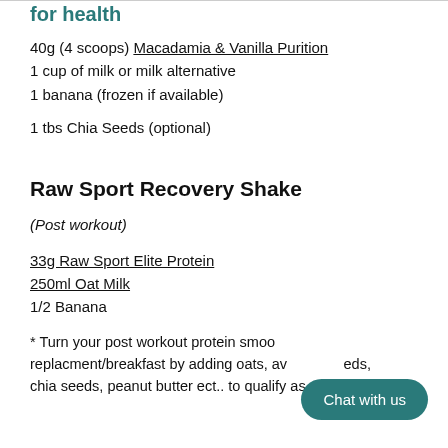for health
40g (4 scoops) Macadamia & Vanilla Purition
1 cup of milk or milk alternative
1 banana (frozen if available)
1 tbs Chia Seeds (optional)
Raw Sport Recovery Shake
(Post workout)
33g Raw Sport Elite Protein
250ml Oat Milk
1/2 Banana
* Turn your post workout protein smoo replacment/breakfast by adding oats, avo eds, chia seeds, peanut butter ect.. to qualify as a healthy meal